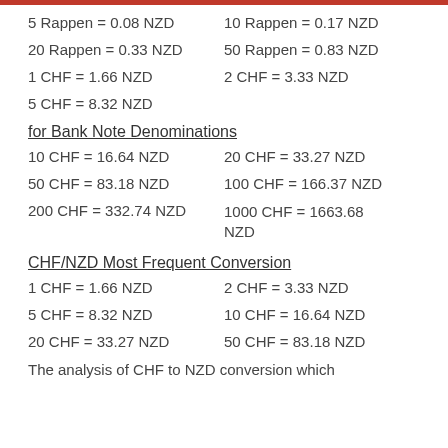5 Rappen = 0.08 NZD
10 Rappen = 0.17 NZD
20 Rappen = 0.33 NZD
50 Rappen = 0.83 NZD
1 CHF = 1.66 NZD
2 CHF = 3.33 NZD
5 CHF = 8.32 NZD
for Bank Note Denominations
10 CHF = 16.64 NZD
20 CHF = 33.27 NZD
50 CHF = 83.18 NZD
100 CHF = 166.37 NZD
200 CHF = 332.74 NZD
1000 CHF = 1663.68 NZD
CHF/NZD Most Frequent Conversion
1 CHF = 1.66 NZD
2 CHF = 3.33 NZD
5 CHF = 8.32 NZD
10 CHF = 16.64 NZD
20 CHF = 33.27 NZD
50 CHF = 83.18 NZD
The analysis of CHF to NZD conversion which